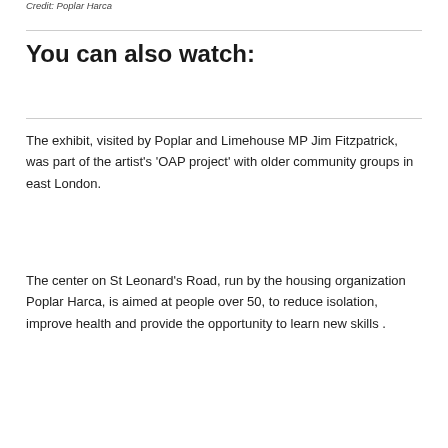Credit: Poplar Harca
You can also watch:
The exhibit, visited by Poplar and Limehouse MP Jim Fitzpatrick, was part of the artist's 'OAP project' with older community groups in east London.
The center on St Leonard's Road, run by the housing organization Poplar Harca, is aimed at people over 50, to reduce isolation, improve health and provide the opportunity to learn new skills .